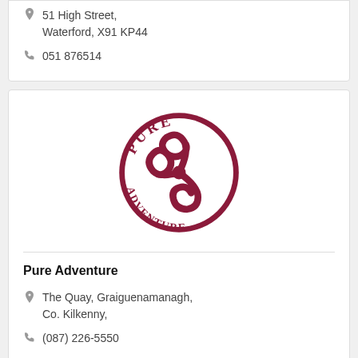51 High Street, Waterford, X91 KP44
051 876514
[Figure (logo): Pure Adventure circular logo with triskelion spiral design in dark red/maroon, text PURE arched at top and ADVENTURE arched at bottom]
Pure Adventure
The Quay, Graiguenamanagh, Co. Kilkenny,
(087) 226-5550